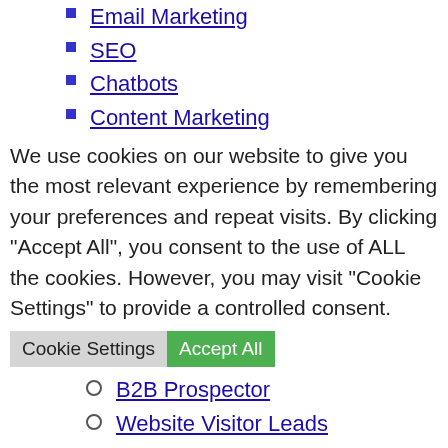Email Marketing
SEO
Chatbots
Content Marketing
We use cookies on our website to give you the most relevant experience by remembering your preferences and repeat visits. By clicking “Accept All”, you consent to the use of ALL the cookies. However, you may visit “Cookie Settings” to provide a controlled consent.
Cookie Settings  Accept All
B2B Prospector
Website Visitor Leads
Pricing
[Figure (illustration): A large black chevron / checkmark arrow pointing downward, centered at the bottom of the page.]